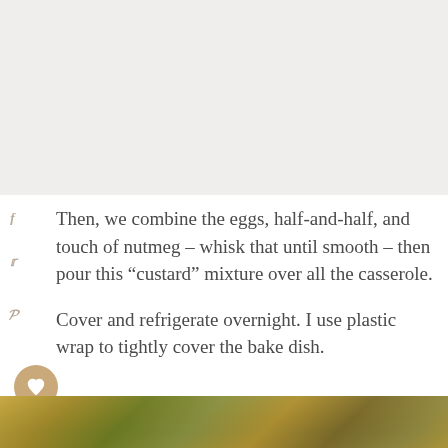[Figure (photo): Gray/white top area, partial food photo cropped]
Then, we combine the eggs, half-and-half, and touch of nutmeg – whisk that until smooth – then pour this “custard” mixture over all the casserole.
Cover and refrigerate overnight. I use plastic wrap to tightly cover the bake dish.
[Figure (photo): Bottom food photo showing baked casserole dish]